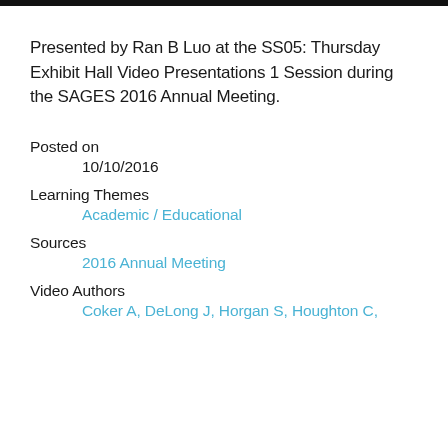Presented by Ran B Luo at the SS05: Thursday Exhibit Hall Video Presentations 1 Session during the SAGES 2016 Annual Meeting.
Posted on
10/10/2016
Learning Themes
Academic / Educational
Sources
2016 Annual Meeting
Video Authors
Coker A, DeLong J, Horgan S, Houghton C,